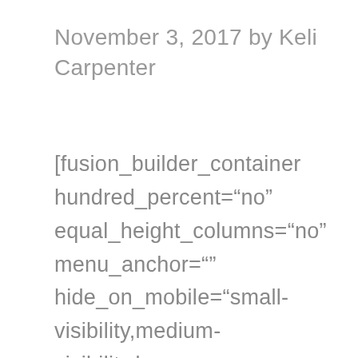November 3, 2017 by Keli Carpenter
[fusion_builder_container hundred_percent="no" equal_height_columns="no" menu_anchor="" hide_on_mobile="small-visibility,medium-visibility,large-visibility" class="" id=""